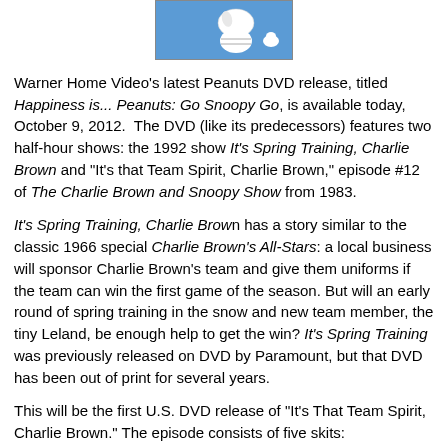[Figure (photo): Partial view of a Peanuts DVD cover featuring Snoopy on a blue background]
Warner Home Video's latest Peanuts DVD release, titled Happiness is... Peanuts: Go Snoopy Go, is available today, October 9, 2012.  The DVD (like its predecessors) features two half-hour shows: the 1992 show It's Spring Training, Charlie Brown and "It's that Team Spirit, Charlie Brown," episode #12 of The Charlie Brown and Snoopy Show from 1983.
It's Spring Training, Charlie Brown has a story similar to the classic 1966 special Charlie Brown's All-Stars: a local business will sponsor Charlie Brown's team and give them uniforms if the team can win the first game of the season. But will an early round of spring training in the snow and new team member, the tiny Leland, be enough help to get the win? It's Spring Training was previously released on DVD by Paramount, but that DVD has been out of print for several years.
This will be the first U.S. DVD release of "It's That Team Spirit, Charlie Brown." The episode consists of five skits: